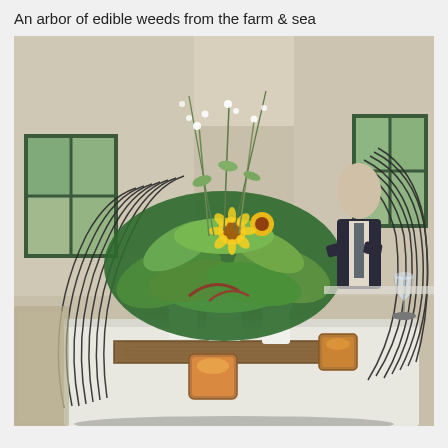An arbor of edible weeds from the farm & sea
[Figure (photo): A restaurant dining room scene showing a decorative centerpiece arrangement on a white table. The centerpiece features an 'arbor' structure made of arching dark metal wires on a wooden base, with white ceramic vases holding lush green edible weeds, large tropical-style leaves, and yellow flowers (sunflowers and small white wildflowers). Small amber glass tea light candle holders are also on the table. In the background, a staff member in a dark suit stands near white-tablecloth tables, with windows showing greenery outside.]